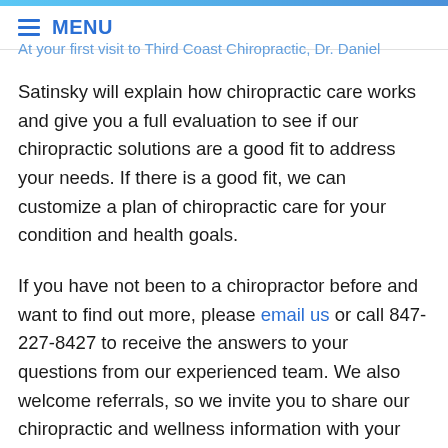MENU
At your first visit to Third Coast Chiropractic, Dr. Daniel Satinsky will explain how chiropractic care works and give you a full evaluation to see if our chiropractic solutions are a good fit to address your needs. If there is a good fit, we can customize a plan of chiropractic care for your condition and health goals.
If you have not been to a chiropractor before and want to find out more, please email us or call 847-227-8427 to receive the answers to your questions from our experienced team. We also welcome referrals, so we invite you to share our chiropractic and wellness information with your friends and loved ones.
If you would like to stay informed about the latest in chiropractic care or if you want to start receiving free articles about health and wellness news, subscribe to our bi-weekly newsletter or if you are a patient. We also offer…